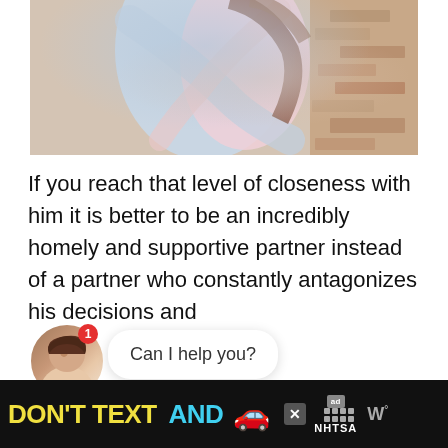[Figure (photo): Two people embracing outdoors, one wearing a light blue top and the other a pink top, with a brick wall in the background]
If you reach that level of closeness with him it is better to be an incredibly homely and supportive partner instead of a partner who constantly antagonizes his decisions and choices.
[Figure (other): Chat widget showing a smiling woman avatar with a red notification badge showing '1' and a speech bubble saying 'Can I help you?']
[Figure (other): Advertisement banner: DON'T TEXT AND [car emoji] with ad badge and NHTSA logo on black background]